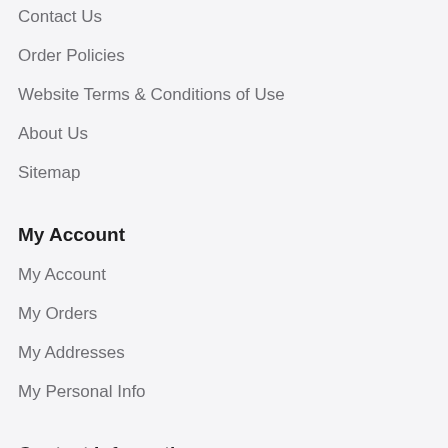Contact Us
Order Policies
Website Terms & Conditions of Use
About Us
Sitemap
My Account
My Account
My Orders
My Addresses
My Personal Info
Contact Information